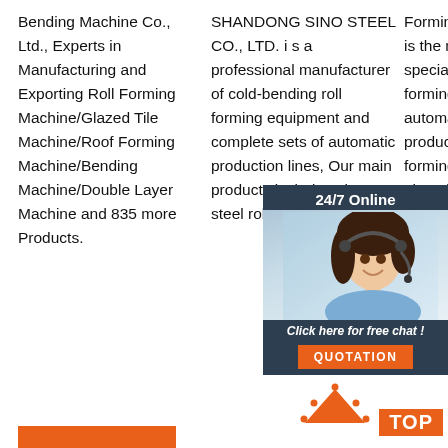Bending Machine Co., Ltd., Experts in Manufacturing and Exporting Roll Forming Machine/Glazed Tile Machine/Roof Forming Machine/Bending Machine/Double Layer Machine and 835 more Products.
SHANDONG SINO STEEL CO., LTD. i s a professional manufacturer of cold-bending roll forming equipment and complete sets of automatic production lines, Our main products include color steel roll forming machine,
Forming Machinery Co., Ltd is the manufacturer specializing in cold roll forming equipment and automatic production line. Its products are color steel roll forming machine, classical glazed tile
[Figure (photo): 24/7 Online customer service chat widget with photo of a smiling woman wearing a headset, dark background, 'Click here for free chat!' text and orange QUOTATION button]
[Figure (infographic): Orange TOP button with triangular arrow pointing up and dots, orange rectangle with white bold text 'TOP']
[Figure (other): Orange bar at bottom left of page]